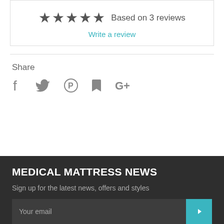[Figure (other): Five filled star icons indicating a rating, followed by text 'Based on 3 reviews']
Write a review
Share
[Figure (other): Social media icons: Facebook (f), Twitter (bird), Pinterest (P), Fancy (flag/bookmark), Google+ (G+)]
MEDICAL MATTRESS NEWS
Sign up for the latest news, offers and styles
Your email